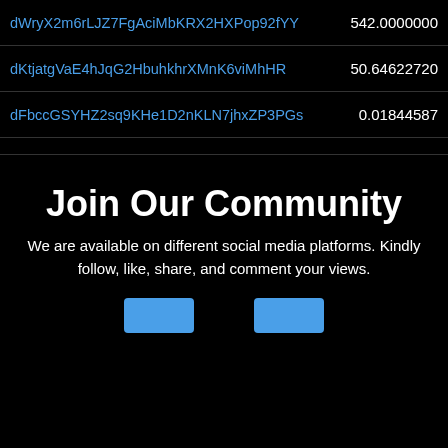| Key | Value |
| --- | --- |
| dWryX2m6rLJZ7FgAciMbKRX2HXPop92fYY | 542.0000000 |
| dKtjatgVaE4hJqG2HbuhkhrXMnK6viMhHR | 50.64622720 |
| dFbccGSYHZ2sq9KHe1D2nKLN7jhxZP3PGs | 0.01844587 |
Join Our Community
We are available on different social media platforms. Kindly follow, like, share, and comment your views.